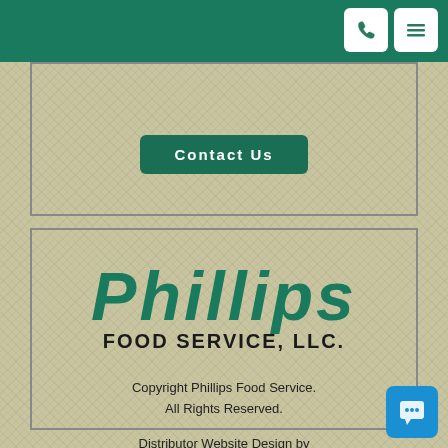Contact Us
[Figure (logo): Phillips Food Service, LLC. logo with stylized teal 'Phillips' text above bold black 'FOOD SERVICE, LLC.']
Copyright Phillips Food Service. All Rights Reserved.
Distributor Website Design by Silver Scope Web Design